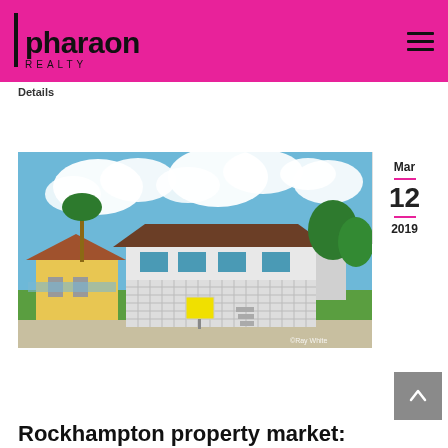pharaon REALTY
Details
[Figure (photo): Photograph of a white raised Queenslander-style house with green lawn, palm trees, a yellow real estate sign, and a blue sky with white clouds. Ray White watermark visible.]
Rockhampton property market: